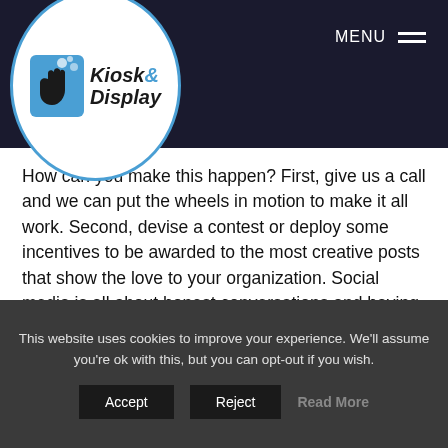Kiosk & Display
How can you make this happen? First, give us a call and we can put the wheels in motion to make it all work. Second, devise a contest or deploy some incentives to be awarded to the most creative posts that show the love to your organization. Social media is all about honest conversations and having shareable content. What better way to share conversations than to put them up…in lights?
This website uses cookies to improve your experience. We'll assume you're ok with this, but you can opt-out if you wish.
Accept  Reject  Read More